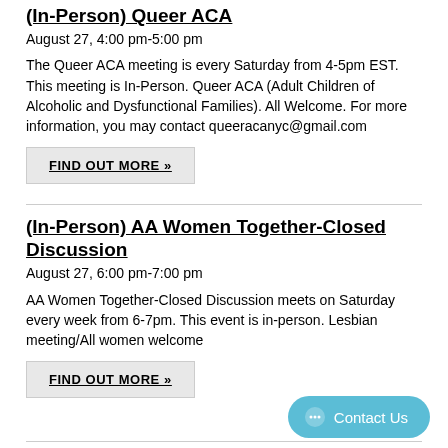(In-Person) Queer ACA
August 27, 4:00 pm-5:00 pm
The Queer ACA meeting is every Saturday from 4-5pm EST. This meeting is In-Person. Queer ACA (Adult Children of Alcoholic and Dysfunctional Families). All Welcome. For more information, you may contact queeracanyc@gmail.com
FIND OUT MORE »
(In-Person) AA Women Together-Closed Discussion
August 27, 6:00 pm-7:00 pm
AA Women Together-Closed Discussion meets on Saturday every week from 6-7pm. This event is in-person. Lesbian meeting/All women welcome
FIND OUT MORE »
Contact Us